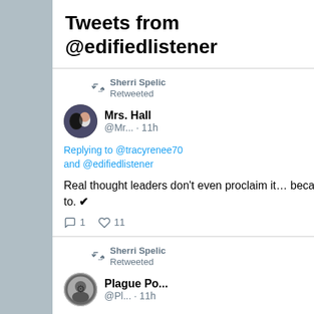Tweets from @edifiedlistener
Sherri Spelic Retweeted
Mrs. Hall @Mr... · 11h
Replying to @tracyrenee70 and @edifiedlistener
Real thought leaders don't even proclaim it… because they don't have to. ✔
1  11
Sherri Spelic Retweeted
Plague Po... @Pl... · 11h
We used to say